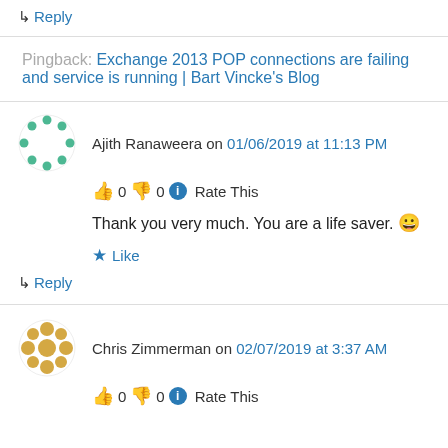↳ Reply
Pingback: Exchange 2013 POP connections are failing and service is running | Bart Vincke's Blog
Ajith Ranaweera on 01/06/2019 at 11:13 PM
👍 0 👎 0 ℹ Rate This
Thank you very much. You are a life saver. 😀
★ Like
↳ Reply
Chris Zimmerman on 02/07/2019 at 3:37 AM
👍 0 👎 0 ℹ Rate This